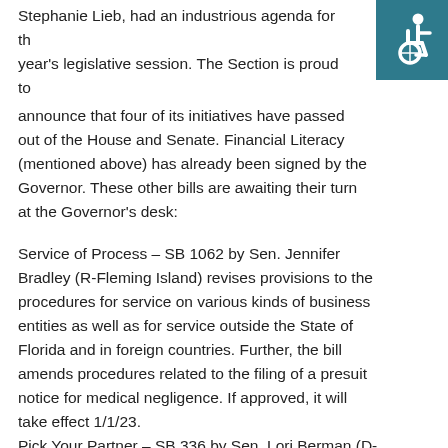[Figure (illustration): Wheelchair accessibility icon — white figure in wheelchair on teal/dark cyan background square in top-right corner]
Stephanie Lieb, had an industrious agenda for the year's legislative session. The Section is proud to announce that four of its initiatives have passed out of the House and Senate. Financial Literacy (mentioned above) has already been signed by the Governor. These other bills are awaiting their turn at the Governor's desk:
Service of Process – SB 1062 by Sen. Jennifer Bradley (R-Fleming Island) revises provisions to the procedures for service on various kinds of business entities as well as for service outside the State of Florida and in foreign countries. Further, the bill amends procedures related to the filing of a presuit notice for medical negligence. If approved, it will take effect 1/1/23.
Pick Your Partner – SB 336 by Sen. Lori Berman (D-